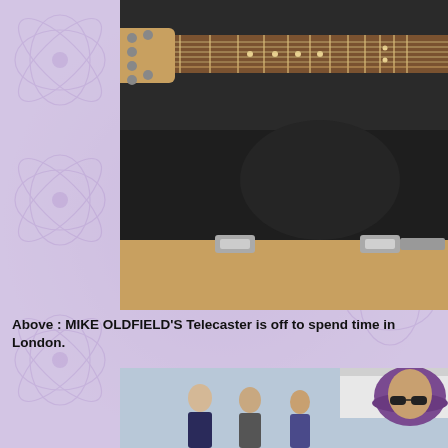[Figure (photo): Guitar (Telecaster) neck and headstock visible in an open black-lined flight case, with aluminium latches visible on the front edge of the case and a wooden surface below.]
Above : MIKE OLDFIELD'S Telecaster is off to spend time in London.
[Figure (photo): Crowd of people outdoors at what appears to be a public event or race meeting. In the foreground on the right is a woman wearing a purple patterned bucket hat and sunglasses. Other attendees in the background.]